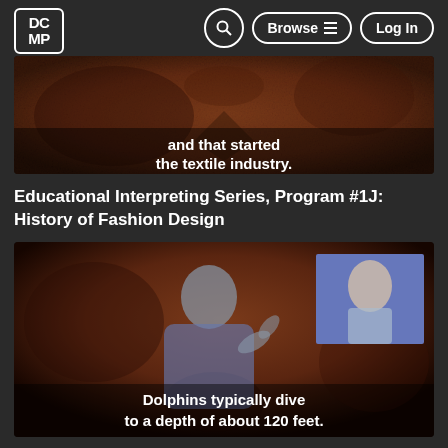DCMP | Browse | Log In
[Figure (screenshot): Video screenshot with subtitles: 'and that started the textile industry.' — brownish-red textured background, educational video frame]
Educational Interpreting Series, Program #1J: History of Fashion Design
[Figure (screenshot): Video screenshot showing a man signing, with a PIP window in top-right corner showing a woman; subtitle reads 'Dolphins typically dive to a depth of about 120 feet.']